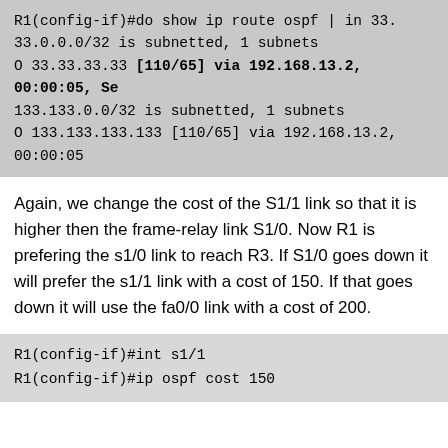[Figure (screenshot): Terminal output showing OSPF route table entries for 33.33.33.33 and 133.133.133.133 via 192.168.13.2]
Again, we change the cost of the S1/1 link so that it is higher then the frame-relay link S1/0. Now R1 is prefering the s1/0 link to reach R3. If S1/0 goes down it will prefer the s1/1 link with a cost of 150. If that goes down it will use the fa0/0 link with a cost of 200.
[Figure (screenshot): Terminal commands: R1(config-if)#int s1/1 and R1(config-if)#ip ospf cost 150]